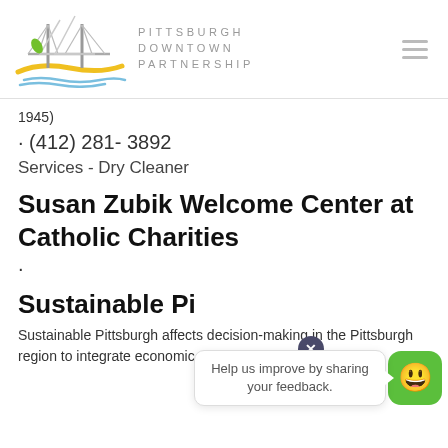[Figure (logo): Pittsburgh Downtown Partnership logo with bridge and river illustration and text]
1945)
· (412) 281- 3892
Services - Dry Cleaner
Susan Zubik Welcome Center at Catholic Charities
·
Sustainable Pi...
Sustainable Pittsburgh affects decision-making in the Pittsburgh region to integrate economic prosperity, social equity, and